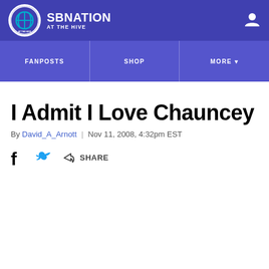SB NATION / AT THE HIVE
I Admit I Love Chauncey
By David_A_Arnott | Nov 11, 2008, 4:32pm EST
SHARE